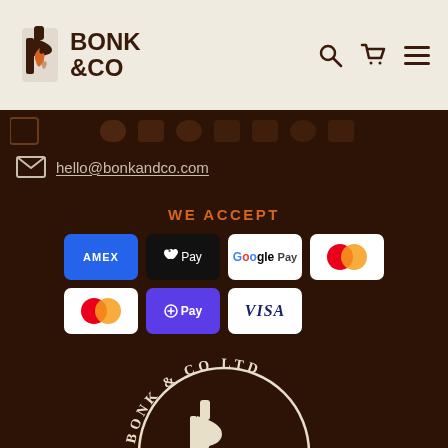[Figure (logo): Bonk & Co logo with flame/BBQ icon on beige header bar]
hello@bonkandco.com
WE ACCEPT
[Figure (infographic): Payment method icons: Amex, Apple Pay, Google Pay, Mastercard (contactless), Mastercard, ShopPay/OPay, Visa]
[Figure (logo): Bonk & Co Ltd circular stamp logo with ESTD 1976, cream/beige on dark brown background]